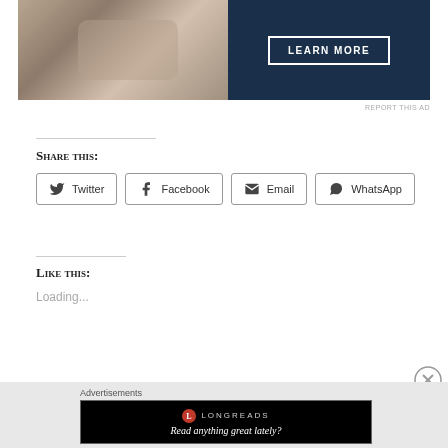[Figure (photo): Advertisement banner with dark navy background showing a person's hands and a 'LEARN MORE' button with white border]
REPORT THIS AD
Share this:
Twitter
Facebook
Email
WhatsApp
Like this:
Loading...
[Figure (screenshot): Longreads advertisement banner with black background, Longreads logo and tagline 'Read anything great lately?']
Advertisements